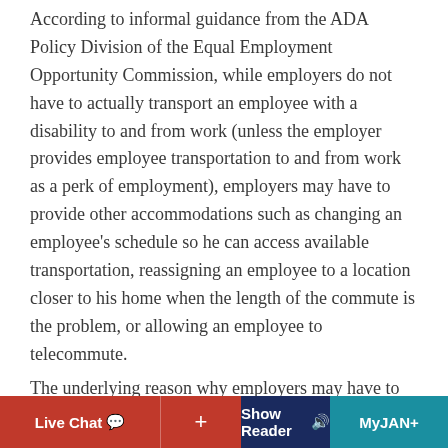According to informal guidance from the ADA Policy Division of the Equal Employment Opportunity Commission, while employers do not have to actually transport an employee with a disability to and from work (unless the employer provides employee transportation to and from work as a perk of employment), employers may have to provide other accommodations such as changing an employee's schedule so he can access available transportation, reassigning an employee to a location closer to his home when the length of the commute is the problem, or allowing an employee to telecommute.
The underlying reason why employers may have to provide such accommodations is that the employer
Live Chat  +  Show Reader  MyJAN+